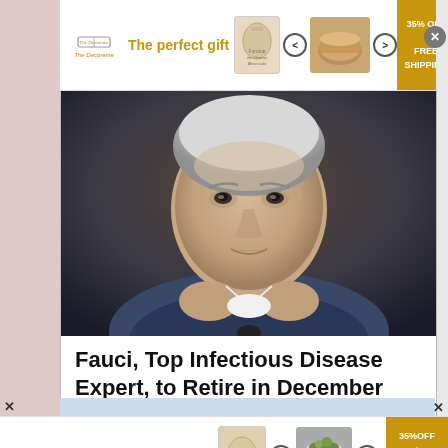[Figure (photo): Advertisement banner: The Decoreme - The perfect gift, product images with left/right arrows, 35% OFF + FREE SHIPPING promo badge]
[Figure (photo): Photo of Dr. Fauci, elderly man with white/grey hair, holding a face mask, wearing blue suit jacket, slight smile]
Fauci, Top Infectious Disease Expert, to Retire in December
[Figure (photo): Partial blue advertisement banner at bottom of news card]
[Figure (photo): Advertisement banner: The Decoreme - The perfect gift, product images with left/right arrows, 35% OFF + FREE SHIPPING promo badge (bottom repeat)]